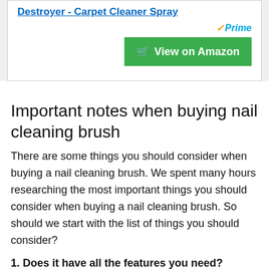Destroyer - Carpet Cleaner Spray
[Figure (other): Amazon Prime logo and View on Amazon button]
Important notes when buying nail cleaning brush
There are some things you should consider when buying a nail cleaning brush. We spent many hours researching the most important things you should consider when buying a nail cleaning brush. So should we start with the list of things you should consider?
1. Does it have all the features you need?
Most importantly, the nail cleaning brush you are purchasing should have all the features you are looking for. In case you don't even have one, don't buy! We are saying this because